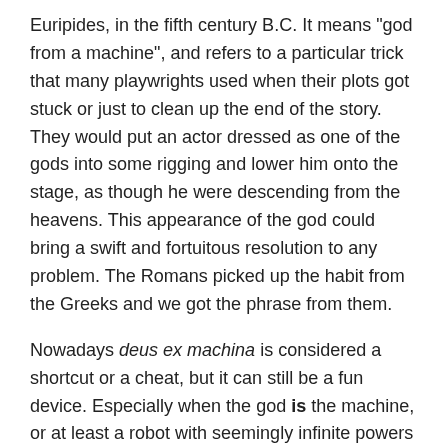Euripides, in the fifth century B.C. It means "god from a machine", and refers to a particular trick that many playwrights used when their plots got stuck or just to clean up the end of the story. They would put an actor dressed as one of the gods into some rigging and lower him onto the stage, as though he were descending from the heavens. This appearance of the god could bring a swift and fortuitous resolution to any problem. The Romans picked up the habit from the Greeks and we got the phrase from them.
Nowadays deus ex machina is considered a shortcut or a cheat, but it can still be a fun device. Especially when the god is the machine, or at least a robot with seemingly infinite powers descending from the sky to free the good guys and help end the first story of John Troutman's Basil Flint, P.I.
Flint's a Private Investigator and a drunk with a hanger-on female sidekick named Amanda Noname who's looking for some adventure. He quickly picks up another female sidekick, the ever-horny Andie, and has recently added another woman to the